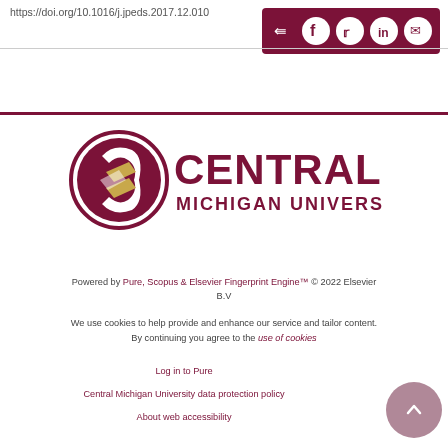https://doi.org/10.1016/j.jpeds.2017.12.010
[Figure (screenshot): Share bar with icons for share, Facebook, Twitter, LinkedIn, and email on dark red background]
[Figure (logo): Central Michigan University logo with stylized C and torch icon in dark red and gold, with text CENTRAL MICHIGAN UNIVERSITY]
Powered by Pure, Scopus & Elsevier Fingerprint Engine™ © 2022 Elsevier B.V
We use cookies to help provide and enhance our service and tailor content. By continuing you agree to the use of cookies
Log in to Pure
Central Michigan University data protection policy
About web accessibility